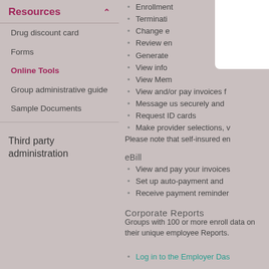Resources
Drug discount card
Forms
Online Tools
Group administrative guide
Sample Documents
Third party administration
Enrollment
Termination
Change e
Review en
Generate
View info
View Mem
View and/or pay invoices f
Message us securely and
Request ID cards
Make provider selections, v
Please note that self-insured en
eBill
View and pay your invoices
Set up auto-payment and
Receive payment reminder
Corporate Reports
Groups with 100 or more enroll data on their unique employee Reports.
Log in to the Employer Das